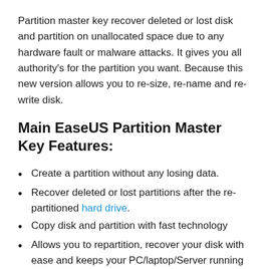Partition master key recover deleted or lost disk and partition on unallocated space due to any hardware fault or malware attacks. It gives you all authority's for the partition you want. Because this new version allows you to re-size, re-name and re-write disk.
Main EaseUS Partition Master Key Features:
Create a partition without any losing data.
Recover deleted or lost partitions after the re-partitioned hard drive.
Copy disk and partition with fast technology
Allows you to repartition, recover your disk with ease and keeps your PC/laptop/Server running at its best.
Create, edit, move and merge partition.
Help system admins to manage disk space while delivering technical service to clients.
Recover deleted partitions from unallocated space due